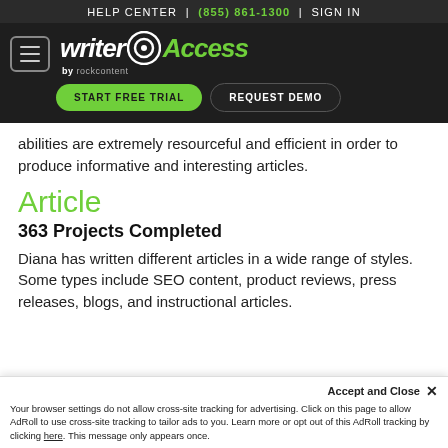HELP CENTER | (855) 861-1300 | SIGN IN
[Figure (logo): WriterAccess by rockcontent logo with hamburger menu, START FREE TRIAL and REQUEST DEMO buttons on dark background]
abilities are extremely resourceful and efficient in order to produce informative and interesting articles.
Article
363 Projects Completed
Diana has written different articles in a wide range of styles. Some types include SEO content, product reviews, press releases, blogs, and instructional articles.
Accept and Close ✕
Your browser settings do not allow cross-site tracking for advertising. Click on this page to allow AdRoll to use cross-site tracking to tailor ads to you. Learn more or opt out of this AdRoll tracking by clicking here. This message only appears once.